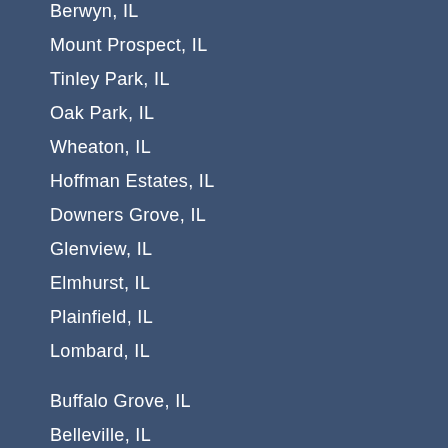Berwyn, IL
Mount Prospect, IL
Tinley Park, IL
Oak Park, IL
Wheaton, IL
Hoffman Estates, IL
Downers Grove, IL
Glenview, IL
Elmhurst, IL
Plainfield, IL
Lombard, IL
Buffalo Grove, IL
Belleville, IL
Bartlett, IL